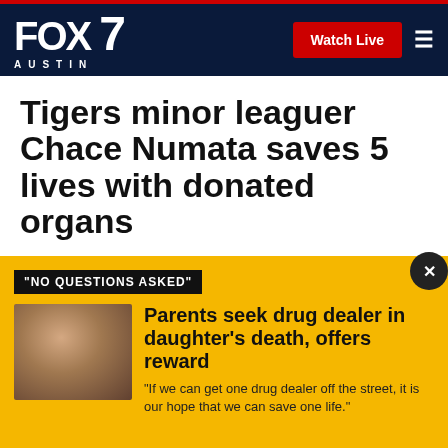FOX 7 AUSTIN | Watch Live
Tigers minor leaguer Chace Numata saves 5 lives with donated organs
Published September 11, 2019 | Sports | FOX 7 Austin
[Figure (infographic): Social sharing icons: Facebook, Twitter, Print, Email]
"NO QUESTIONS ASKED"
[Figure (photo): Photo of a young woman and man smiling]
Parents seek drug dealer in daughter's death, offers reward
"If we can get one drug dealer off the street, it is our hope that we can save one life."